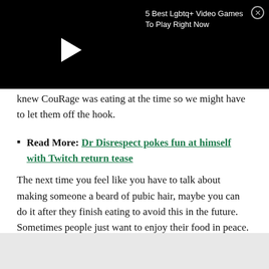[Figure (screenshot): Black video player bar with a white play triangle button on the left, video title '5 Best Lgbtq+ Video Games To Play Right Now' in white text top right, and a circular close (X) button top right corner.]
knew CouRage was eating at the time so we might have to let them off the hook.
Read More: Dr Disrespect pokes fun at himself with Twitch return tease
The next time you feel like you have to talk about making someone a beard of pubic hair, maybe you can do it after they finish eating to avoid this in the future. Sometimes people just want to enjoy their food in peace.